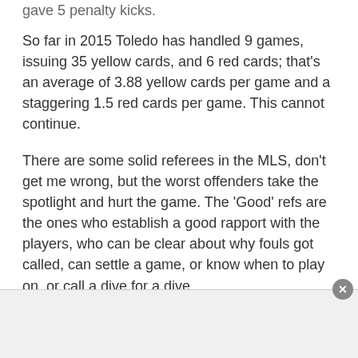gave 5 penalty kicks.
So far in 2015 Toledo has handled 9 games, issuing 35 yellow cards, and 6 red cards; that’s an average of 3.88 yellow cards per game and a staggering 1.5 red cards per game. This cannot continue.
There are some solid referees in the MLS, don’t get me wrong, but the worst offenders take the spotlight and hurt the game. The ‘Good’ refs are the ones who establish a good rapport with the players, who can be clear about why fouls got called, can settle a game, or know when to play on, or call a dive for a dive.
Maybe most surprising is everyone’s favorite